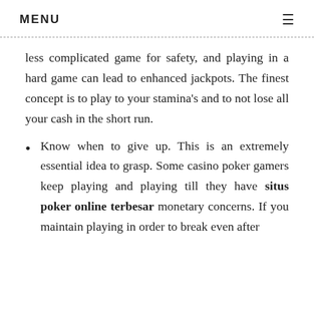MENU ≡
less complicated game for safety, and playing in a hard game can lead to enhanced jackpots. The finest concept is to play to your stamina's and to not lose all your cash in the short run.
Know when to give up. This is an extremely essential idea to grasp. Some casino poker gamers keep playing and playing till they have situs poker online terbesar monetary concerns. If you maintain playing in order to break even after